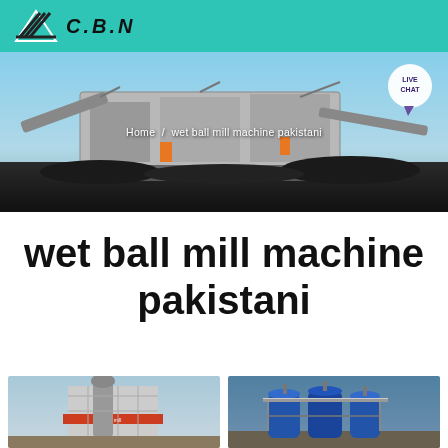[Figure (logo): Company logo with teal background, diagonal lines icon and bold italic text]
[Figure (photo): Large industrial mining crusher/screening machine on a construction site with blue sky, breadcrumb navigation overlay reading 'Home / wet ball mill machine pakistani' and a LIVE CHAT button]
wet ball mill machine pakistani
[Figure (photo): Left thumbnail photo of a vertical ball mill machine with scaffolding and red banners at an industrial site]
[Figure (photo): Right thumbnail photo of blue industrial cylindrical ball mill machines at a plant]